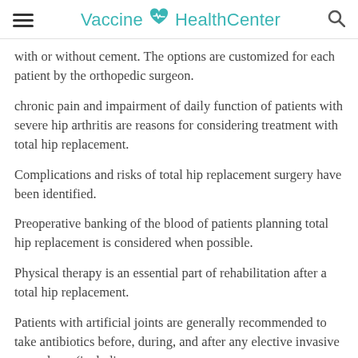Vaccine HealthCenter
with or without cement. The options are customized for each patient by the orthopedic surgeon.
chronic pain and impairment of daily function of patients with severe hip arthritis are reasons for considering treatment with total hip replacement.
Complications and risks of total hip replacement surgery have been identified.
Preoperative banking of the blood of patients planning total hip replacement is considered when possible.
Physical therapy is an essential part of rehabilitation after a total hip replacement.
Patients with artificial joints are generally recommended to take antibiotics before, during, and after any elective invasive procedures (including